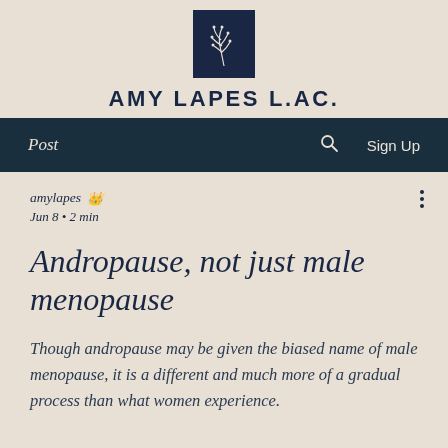[Figure (logo): Dark navy blue square logo with white floral/branch illustration]
AMY LAPES L.AC.
Post   🔍   Sign Up
amylapes 👑
Jun 8 · 2 min
Andropause, not just male menopause
Though andropause may be given the biased name of male menopause, it is a different and much more of a gradual process than what women experience.